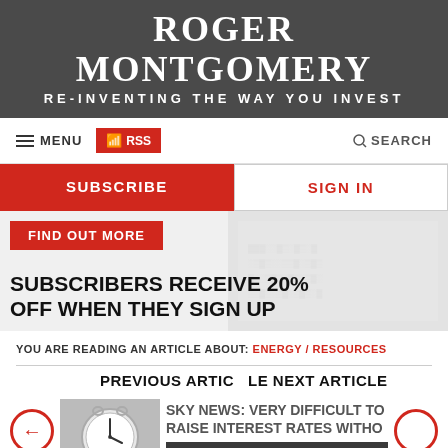ROGER MONTGOMERY
RE-INVENTING THE WAY YOU INVEST
MENU   RSS   SEARCH
SUBSCRIBE   SIGN IN
FIND OUT MORE
SUBSCRIBERS RECEIVE 20% OFF WHEN THEY SIGN UP
YOU ARE READING AN ARTICLE ABOUT: ENERGY / RESOURCES
PREVIOUS ARTICLE   NEXT ARTICLE
[Figure (photo): Thumbnail photo of an alarm clock]
SKY NEWS: VERY DIFFICULT TO RAISE INTEREST RATES WITHOUT A RECES...
HOW ROMER IS TA...
Feedback & Support